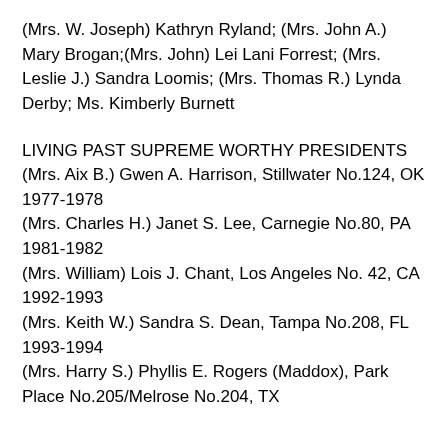(Mrs. W. Joseph) Kathryn Ryland; (Mrs. John A.) Mary Brogan;(Mrs. John) Lei Lani Forrest; (Mrs. Leslie J.) Sandra Loomis; (Mrs. Thomas R.) Lynda Derby; Ms. Kimberly Burnett
LIVING PAST SUPREME WORTHY PRESIDENTS
(Mrs. Aix B.) Gwen A. Harrison, Stillwater No.124, OK 1977-1978
(Mrs. Charles H.) Janet S. Lee, Carnegie No.80, PA 1981-1982
(Mrs. William) Lois J. Chant, Los Angeles No. 42, CA 1992-1993
(Mrs. Keith W.) Sandra S. Dean, Tampa No.208, FL 1993-1994
(Mrs. Harry S.) Phyllis E. Rogers (Maddox), Park Place No.205/Melrose No.204, TX